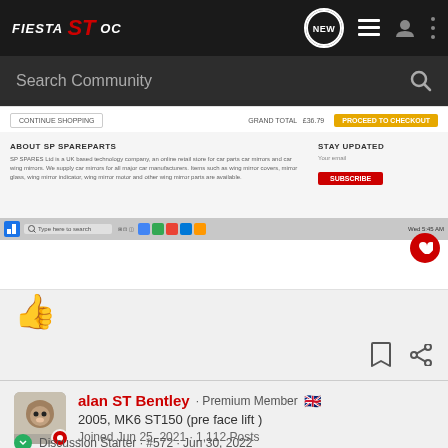FIESTA ST OC — NEW | menu | person | more
Search Community
[Figure (screenshot): Screenshot of a shopping cart / spare parts website with continue shopping button, proceed to checkout button, ABOUT SP SPAREPARTS section, STAY UPDATED section with SUBSCRIBE button, and a Windows taskbar at the bottom. A red heart icon is visible on the right.]
👍
alan ST Bentley · Premium Member 🇬🇧
2005, MK6 ST150 (pre face lift )
Joined Jun 25, 2021 · 1,112 Posts
Discussion Starter · #572 · Jun 30, 2022